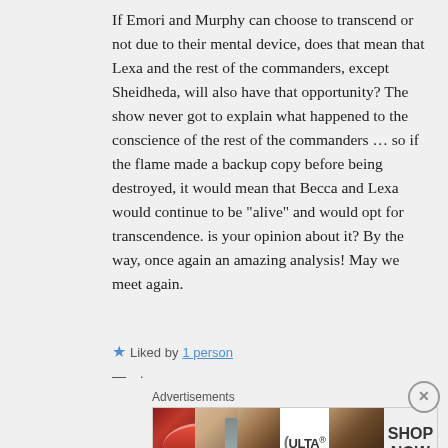If Emori and Murphy can choose to transcend or not due to their mental device, does that mean that Lexa and the rest of the commanders, except Sheidheda, will also have that opportunity? The show never got to explain what happened to the conscience of the rest of the commanders … so if the flame made a backup copy before being destroyed, it would mean that Becca and Lexa would continue to be “alive” and would opt for transcendence. is your opinion about it? By the way, once again an amazing analysis! May we meet again.
Liked by 1 person
Advertisements
[Figure (photo): Advertisement banner for ULTA beauty products showing close-ups of lips with red lipstick, a makeup brush, an eye with makeup, the ULTA logo, eyes with dark dramatic makeup, and a SHOP NOW call to action.]